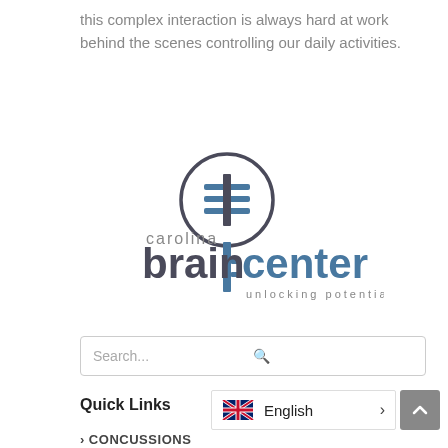this complex interaction is always hard at work behind the scenes controlling our daily activities.
[Figure (logo): Carolina Brain Center logo with a key-shaped brain icon and the tagline 'unlocking potential']
Search...
Quick Links
> CONCUSSIONS